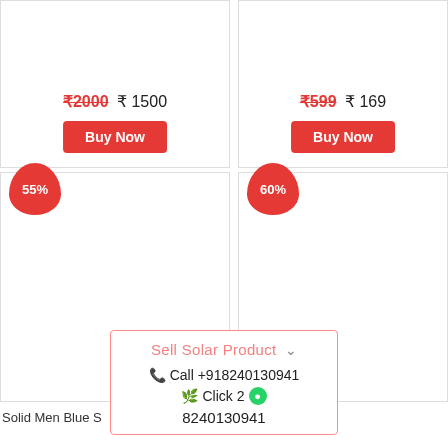₹2000  ₹ 1500
Buy Now
₹599  ₹ 169
Buy Now
55%
60%
Sell Solar Product ˅
📞 Call +918240130941
Click 2 🟢 8240130941
Solid Men Blue S
8240130941